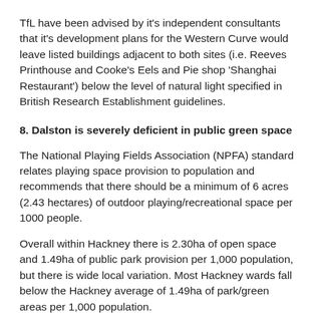TfL have been advised by it's independent consultants that it's development plans for the Western Curve would leave listed buildings adjacent to both sites (i.e. Reeves Printhouse and Cooke's Eels and Pie shop 'Shanghai Restaurant') below the level of natural light specified in British Research Establishment guidelines.
8. Dalston is severely deficient in public green space
The National Playing Fields Association (NPFA) standard relates playing space provision to population and recommends that there should be a minimum of 6 acres (2.43 hectares) of outdoor playing/recreational space per 1000 people.
Overall within Hackney there is 2.30ha of open space and 1.49ha of public park provision per 1,000 population, but there is wide local variation. Most Hackney wards fall below the Hackney average of 1.49ha of park/green areas per 1,000 population.